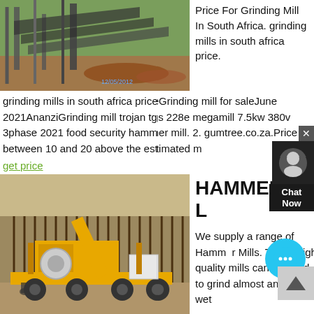[Figure (photo): Mining equipment/grinding mill at a site, dated 12/05/2012, outdoor industrial setting with steel structures and orange/brown soil]
Price For Grinding Mill In South Africa. grinding mills in south africa price.
grinding mills in south africa priceGrinding mill for saleJune 2021AnanziGrinding mill trojan tgs 228e megamill 7.5kw 380v 3phase 2021 food security hammer mill. 2. gumtree.co.za.Price is between 10 and 20 above the estimated m
get price
[Figure (photo): Yellow hammermill/mobile crushing machine on a trailer at an outdoor industrial site]
HAMMERMILL
We supply a range of Hammer Mills. These high quality mills can be used to grind almost any dry or wet
substance/product fine to a personal specification. Please look